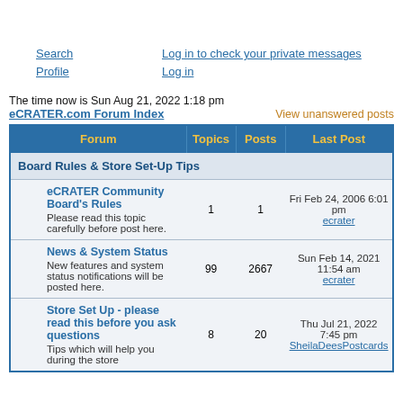Search   Log in to check your private messages
Profile   Log in
The time now is Sun Aug 21, 2022 1:18 pm
eCRATER.com Forum Index    View unanswered posts
| Forum | Topics | Posts | Last Post |
| --- | --- | --- | --- |
| Board Rules & Store Set-Up Tips |  |  |  |
| eCRATER Community Board's Rules
Please read this topic carefully before post here. | 1 | 1 | Fri Feb 24, 2006 6:01 pm
ecrater |
| News & System Status
New features and system status notifications will be posted here. | 99 | 2667 | Sun Feb 14, 2021 11:54 am
ecrater |
| Store Set Up - please read this before you ask questions
Tips which will help you during the store | 8 | 20 | Thu Jul 21, 2022 7:45 pm
SheilaDeesPostcards |